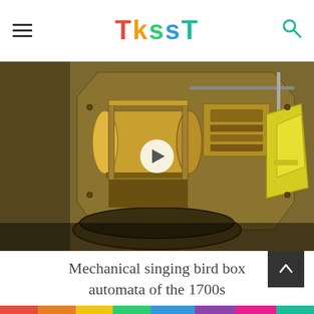TKSST
[Figure (photo): Close-up photograph of the internal mechanism of a mechanical singing bird box automaton from the 1700s, showing brass gears, cylinders, and components on an octagonal brass plate, with a triangular yellow element visible on the right side. A circular play button overlay is centered on the image.]
Mechanical singing bird box automata of the 1700s